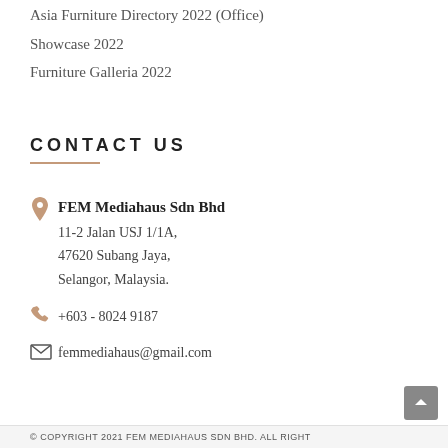Asia Furniture Directory 2022 (Office)
Showcase 2022
Furniture Galleria 2022
CONTACT US
FEM Mediahaus Sdn Bhd
11-2 Jalan USJ 1/1A,
47620 Subang Jaya,
Selangor, Malaysia.
+603 - 8024 9187
femmediahaus@gmail.com
© COPYRIGHT 2021 FEM MEDIAHAUS SDN BHD. ALL RIGHT